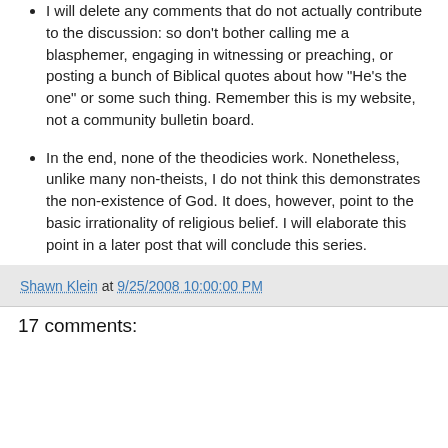I will delete any comments that do not actually contribute to the discussion: so don't bother calling me a blasphemer, engaging in witnessing or preaching, or posting a bunch of Biblical quotes about how "He's the one" or some such thing. Remember this is my website, not a community bulletin board.
In the end, none of the theodicies work. Nonetheless, unlike many non-theists, I do not think this demonstrates the non-existence of God. It does, however, point to the basic irrationality of religious belief. I will elaborate this point in a later post that will conclude this series.
Shawn Klein at 9/25/2008 10:00:00 PM
17 comments: